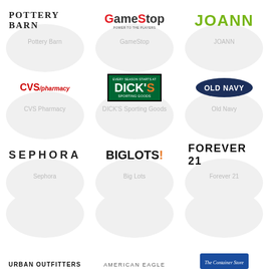[Figure (logo): Pottery Barn logo - black serif uppercase text]
[Figure (logo): GameStop logo - bold text with red G, tagline POWER TO THE PLAYERS]
[Figure (logo): JOANN logo - bold green text]
Pottery Barn
GameStop
JOANN
[Figure (logo): CVS/pharmacy logo in red]
[Figure (logo): DICK'S Sporting Goods logo - white text on green background]
[Figure (logo): Old Navy logo - white text in navy oval]
CVS Pharmacy
DICK'S Sporting Goods
Old Navy
[Figure (logo): SEPHORA logo - bold spaced uppercase black text]
[Figure (logo): BIG LOTS! logo - bold black text with orange exclamation]
[Figure (logo): FOREVER 21 logo - bold black uppercase text]
Sephora
Big Lots
Forever 21
[Figure (logo): URBAN OUTFITTERS logo - small bold spaced uppercase text]
[Figure (logo): AMERICAN EAGLE logo - small spaced uppercase text]
[Figure (logo): The Container Store logo - white italic text on blue rounded rectangle]